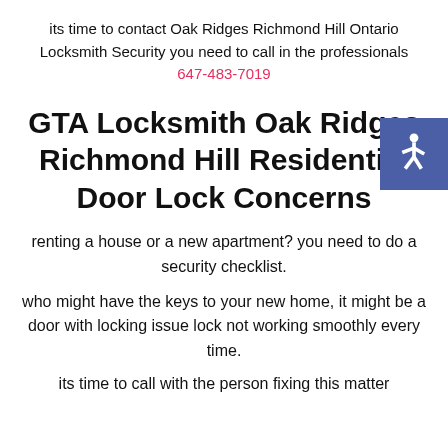its time to contact Oak Ridges Richmond Hill Ontario Locksmith Security you need to call in the professionals 647-483-7019
GTA Locksmith Oak Ridges Richmond Hill Residential Door Lock Concerns
[Figure (illustration): Accessibility icon badge — white wheelchair symbol on blue background]
renting a house or a new apartment? you need to do a security checklist.
who might have the keys to your new home, it might be a door with locking issue lock not working smoothly every time.
its time to call with the person fixing this matter